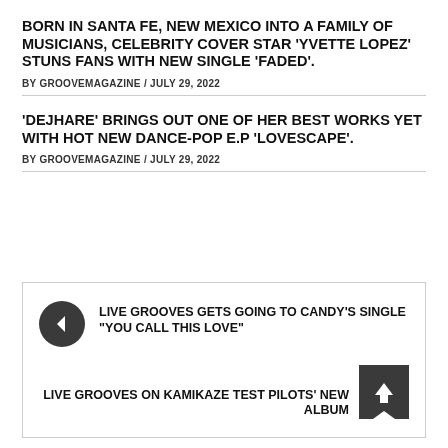BORN IN SANTA FE, NEW MEXICO INTO A FAMILY OF MUSICIANS, CELEBRITY COVER STAR 'YVETTE LOPEZ' STUNS FANS WITH NEW SINGLE 'FADED'.
BY GROOVEMAGAZINE / JULY 29, 2022
'DEJHARE' BRINGS OUT ONE OF HER BEST WORKS YET WITH HOT NEW DANCE-POP E.P 'LOVESCAPE'.
BY GROOVEMAGAZINE / JULY 29, 2022
[Figure (other): Navigation box with previous and next article links. Previous: 'LIVE GROOVES GETS GOING TO CANDY'S SINGLE "YOU CALL THIS LOVE"' with left arrow icon. Next: 'LIVE GROOVES ON KAMIKAZE TEST PILOTS' NEW ALBUM' with tag/bookmark icon.]